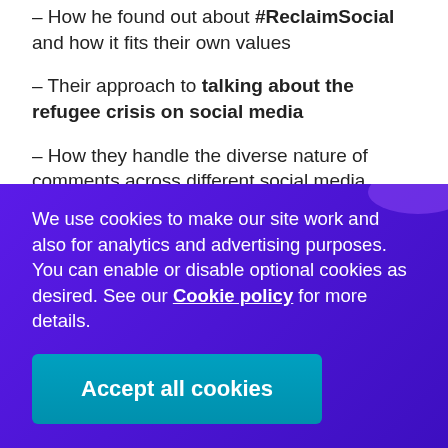– How he found out about #ReclaimSocial and how it fits their own values
– Their approach to talking about the refugee crisis on social media
– How they handle the diverse nature of comments across different social media channels
– The surprising self-moderation of the comments
We use cookies to make our site work and also for analytics and advertising purposes. You can enable or disable optional cookies as desired. See our Cookie policy for more details.
Accept all cookies